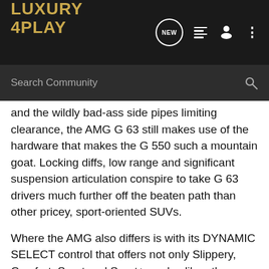[Figure (logo): Luxury 4Play logo in gold/yellow text on dark background header bar with navigation icons (NEW bubble, list, user, dots)]
Search Community
and the wildly bad-ass side pipes limiting clearance, the AMG G 63 still makes use of the hardware that makes the G 550 such a mountain goat. Locking diffs, low range and significant suspension articulation conspire to take G 63 drivers much further off the beaten path than other pricey, sport-oriented SUVs.
Where the AMG also differs is with its DYNAMIC SELECT control that offers not only Slippery, Comfort, Sport and Sport+ modes like other AMG models, but also off-road settings for Sand, Trail and Rock conditions. A mud, rock and gravel circuit was set up wherein we were encouraged to drive the G 63 as if it were a rally car at speeds high enough to drift the tail-